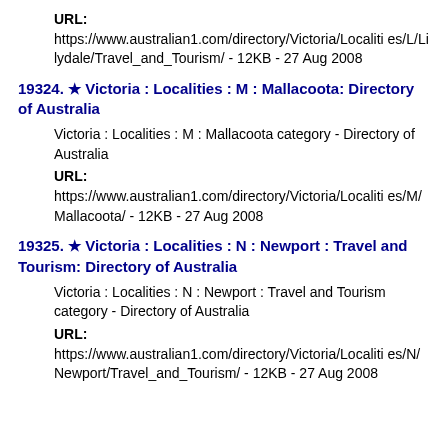URL:
https://www.australian1.com/directory/Victoria/Localities/L/Lilydale/Travel_and_Tourism/ - 12KB - 27 Aug 2008
19324. ★ Victoria : Localities : M : Mallacoota: Directory of Australia
Victoria : Localities : M : Mallacoota category - Directory of Australia
URL:
https://www.australian1.com/directory/Victoria/Localities/M/Mallacoota/ - 12KB - 27 Aug 2008
19325. ★ Victoria : Localities : N : Newport : Travel and Tourism: Directory of Australia
Victoria : Localities : N : Newport : Travel and Tourism category - Directory of Australia
URL:
https://www.australian1.com/directory/Victoria/Localities/N/Newport/Travel_and_Tourism/ - 12KB - 27 Aug 2008